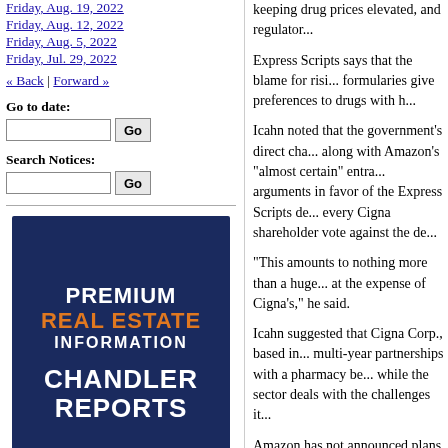Friday, Aug. 19, 2022
Friday, Aug. 12, 2022
Friday, Aug. 5, 2022
Friday, Jul. 29, 2022
« Back | Forward »
Go to date:
Search Notices:
[Figure (logo): Premium Real Estate Information - Chandler Reports advertisement banner with dark blue background and orange accent text]
keeping drug prices elevated, and regulator...
Express Scripts says that the blame for risi... formularies give preferences to drugs with h...
Icahn noted that the government's direct cha... along with Amazon's "almost certain" entra... arguments in favor of the Express Scripts d... every Cigna shareholder vote against the de...
"This amounts to nothing more than a huge... at the expense of Cigna's," he said.
Icahn suggested that Cigna Corp., based in... multi-year partnerships with a pharmacy be... while the sector deals with the challenges it...
Amazon has not announced plans to create... entrance into this market has created a level...
Amazon has formed a new venture with JPM... figure out ways to attack rising health care c... for many more Americans. It also announce... pharmacy PillPack. Icahn noted that will co... pharmacy business.